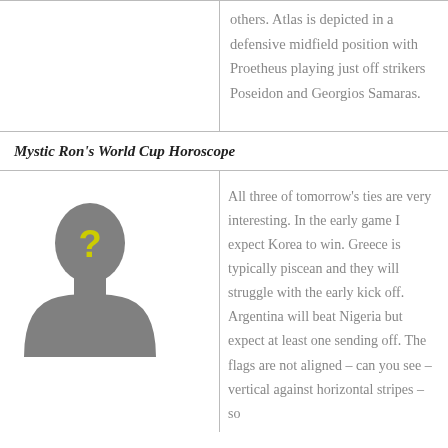others. Atlas is depicted in a defensive midfield position with Proetheus playing just off strikers Poseidon and Georgios Samaras.
Mystic Ron's World Cup Horoscope
[Figure (illustration): Silhouette of a person (head and shoulders) in dark gray with a yellow question mark on the face area.]
All three of tomorrow's ties are very interesting. In the early game I expect Korea to win. Greece is typically piscean and they will struggle with the early kick off. Argentina will beat Nigeria but expect at least one sending off. The flags are not aligned – can you see – vertical against horizontal stripes – so